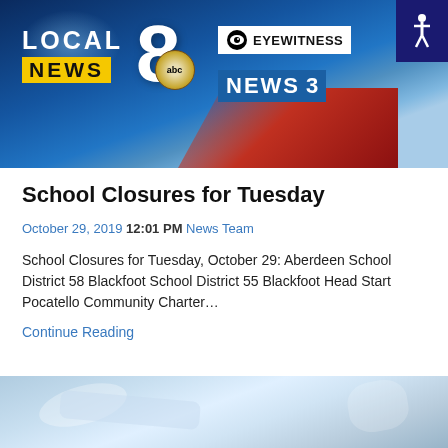[Figure (logo): Local 8 News ABC / CBS Eyewitness News 3 television station banner header with blue and red background]
School Closures for Tuesday
October 29, 2019 12:01 PM News Team
School Closures for Tuesday, October 29: Aberdeen School District 58 Blackfoot School District 55 Blackfoot Head Start Pocatello Community Charter…
Continue Reading
[Figure (photo): Partial view of a television news broadcast graphic, blue/silver tones, bottom of page]